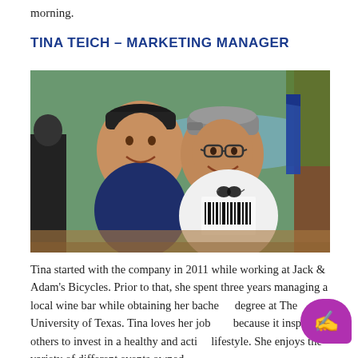morning.
TINA TEICH – MARKETING MANAGER
[Figure (photo): Two people smiling at an outdoor event, a woman in a navy polo shirt and cap and a man in a white triathlon t-shirt and grey cap with glasses, standing in front of trees and a lake.]
Tina started with the company in 2011 while working at Jack & Adam's Bicycles. Prior to that, she spent three years managing a local wine bar while obtaining her bachelor degree at The University of Texas. Tina loves her job because it inspires others to invest in a healthy and active lifestyle. She enjoys the variety of different events owned